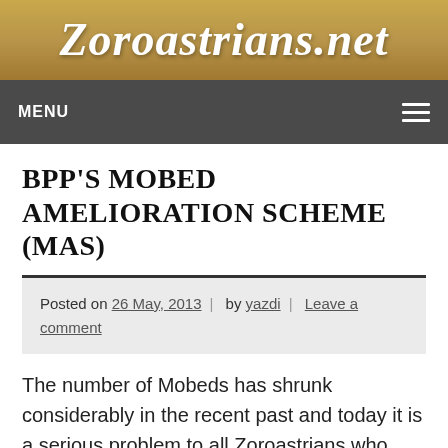Zoroastrians.net
MENU
BPP'S MOBED AMELIORATION SCHEME (MAS)
Posted on 26 May, 2013 | by yazdi | Leave a comment
The number of Mobeds has shrunk considerably in the recent past and today it is a serious problem to all Zoroastrians who wish to practise their religion, faithfully.